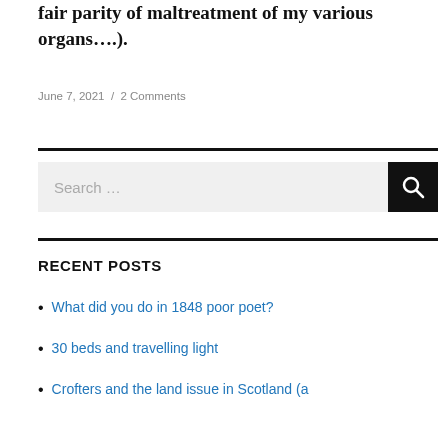fair parity of maltreatment of my various organs….).
June 7, 2021 / 2 Comments
[Figure (other): Search bar with search button]
RECENT POSTS
What did you do in 1848 poor poet?
30 beds and travelling light
Crofters and the land issue in Scotland (a